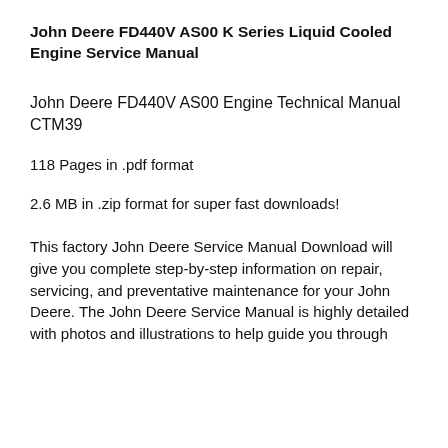John Deere FD440V AS00 K Series Liquid Cooled Engine Service Manual
John Deere FD440V AS00 Engine Technical Manual CTM39
118 Pages in .pdf format
2.6 MB in .zip format for super fast downloads!
This factory John Deere Service Manual Download will give you complete step-by-step information on repair, servicing, and preventative maintenance for your John Deere. The John Deere Service Manual is highly detailed with photos and illustrations to help guide you through